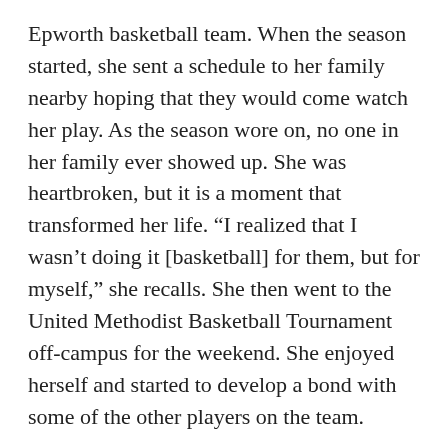Epworth basketball team. When the season started, she sent a schedule to her family nearby hoping that they would come watch her play. As the season wore on, no one in her family ever showed up. She was heartbroken, but it is a moment that transformed her life. “I realized that I wasn’t doing it [basketball] for them, but for myself,” she recalls. She then went to the United Methodist Basketball Tournament off-campus for the weekend. She enjoyed herself and started to develop a bond with some of the other players on the team.
From then on, YTerrani began to open up to more people on campus. She began to embrace Epworth and the opportunity it was providing her. She was the youngest girl in her cottage at the time, so the older girls took her under their wing. (Two of those girls were Jazmine and Curtdrieka from the June 2014